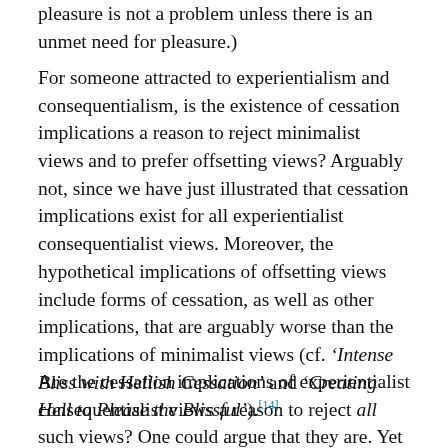pleasure is not a problem unless there is an unmet need for pleasure.)
For someone attracted to experientialism and consequentialism, is the existence of cessation implications a reason to reject minimalist views and to prefer offsetting views? Arguably not, since we have just illustrated that cessation implications exist for all experientialist consequentialist views. Moreover, the hypothetical implications of offsetting views include forms of cessation, as well as other implications, that are arguably worse than the implications of minimalist views (cf. ‘Intense Bliss with Hellish Cessation’ and ‘Creating Hell to Please the Blissful’).[14]
Are the cessation implications of experientialist consequentialist views a reason to reject all such views? One could argue that they are. Yet they may also be a